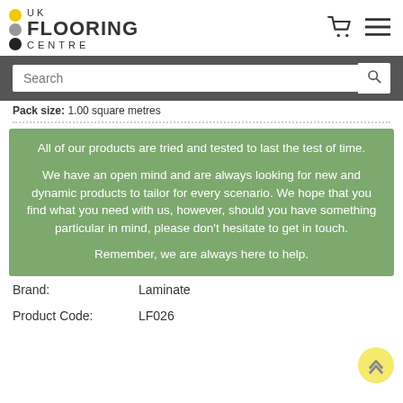[Figure (logo): UK Flooring Centre logo with three circles (yellow, grey, black) and text UK FLOORING CENTRE]
Pack size: 1.00 square metres
All of our products are tried and tested to last the test of time.

We have an open mind and are always looking for new and dynamic products to tailor for every scenario. We hope that you find what you need with us, however, should you have something particular in mind, please don't hesitate to get in touch.

Remember, we are always here to help.
Brand: Laminate
Product Code: LF026